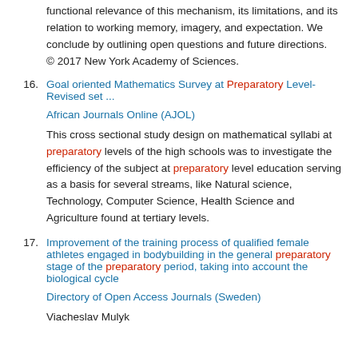functional relevance of this mechanism, its limitations, and its relation to working memory, imagery, and expectation. We conclude by outlining open questions and future directions. © 2017 New York Academy of Sciences.
16. Goal oriented Mathematics Survey at Preparatory Level-Revised set ... African Journals Online (AJOL) This cross sectional study design on mathematical syllabi at preparatory levels of the high schools was to investigate the efficiency of the subject at preparatory level education serving as a basis for several streams, like Natural science, Technology, Computer Science, Health Science and Agriculture found at tertiary levels.
17. Improvement of the training process of qualified female athletes engaged in bodybuilding in the general preparatory stage of the preparatory period, taking into account the biological cycle Directory of Open Access Journals (Sweden) Viacheslav Mulyk